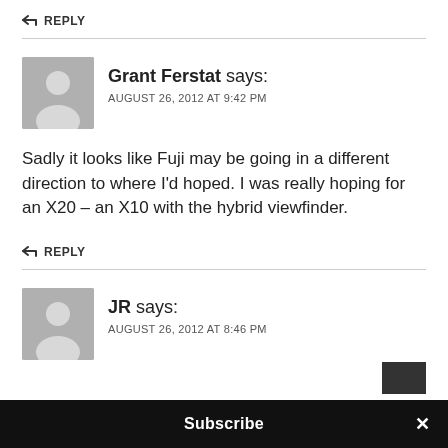↩ REPLY
Grant Ferstat says: AUGUST 26, 2012 AT 9:42 PM
Sadly it looks like Fuji may be going in a different direction to where I'd hoped. I was really hoping for an X20 – an X10 with the hybrid viewfinder.
↩ REPLY
JR says: AUGUST 26, 2012 AT 8:46 PM
Subscribe